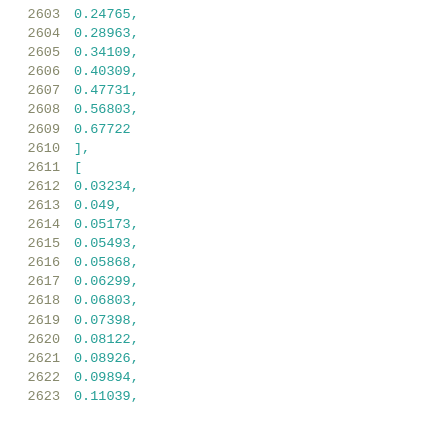2603    0.24765,
2604    0.28963,
2605    0.34109,
2606    0.40309,
2607    0.47731,
2608    0.56803,
2609    0.67722
2610    ],
2611    [
2612    0.03234,
2613    0.049,
2614    0.05173,
2615    0.05493,
2616    0.05868,
2617    0.06299,
2618    0.06803,
2619    0.07398,
2620    0.08122,
2621    0.08926,
2622    0.09894,
2623    0.11039,